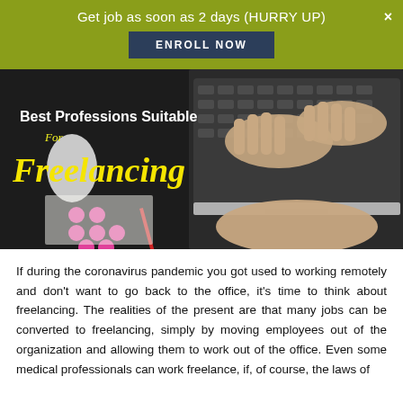Get job as soon as 2 days (HURRY UP)
ENROLL NOW
[Figure (photo): Overhead view of a person's hands typing on a laptop keyboard on a dark desk with a mouse and colorful dots visible. Overlaid text reads: Best Professions Suitable For Freelancing]
If during the coronavirus pandemic you got used to working remotely and don't want to go back to the office, it's time to think about freelancing. The realities of the present are that many jobs can be converted to freelancing, simply by moving employees out of the organization and allowing them to work out of the office. Even some medical professionals can work freelance, if, of course, the laws of